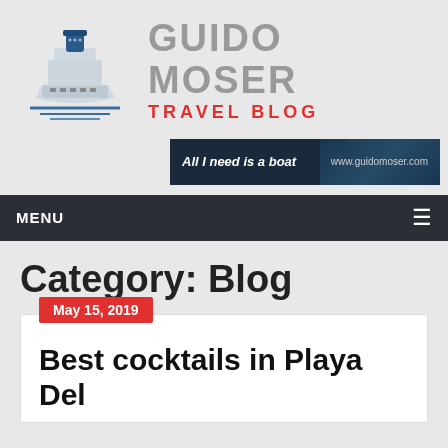[Figure (logo): Guido Moser Travel Blog logo with cruise ship icon and site name/tagline]
[Figure (screenshot): Banner ad reading 'All I need is a boat' with www.guidomoser.com on dark ocean background]
MENU
Category: Blog
May 15, 2019
Best cocktails in Playa Del